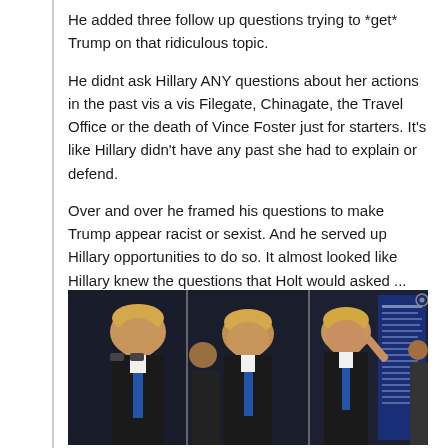He added three follow up questions trying to *get* Trump on that ridiculous topic.
He didnt ask Hillary ANY questions about her actions in the past vis a vis Filegate, Chinagate, the Travel Office or the death of Vince Foster just for starters. It's like Hillary didn't have any past she had to explain or defend.
Over and over he framed his questions to make Trump appear racist or sexist. And he served up Hillary opportunities to do so. It almost looked like Hillary knew the questions that Holt would asked ... that she was working from a script. Did you notice that she looked down often at her the notes on her podium. Trump used no notes. And they made damn sure to collect Hillary's notes as soon as the debate ended:
[Figure (photo): Three-panel image showing Trump at debate podium from different angles. Left panel shows Trump facing right with blue tie. Middle panel shows Trump from behind or side. Right panel shows Trump standing near a blue text panel with another person visible.]